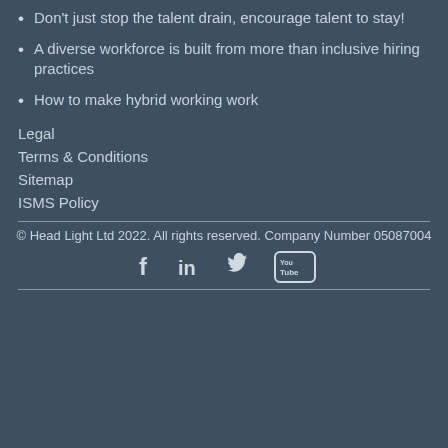Don't just stop the talent drain, encourage talent to stay!
A diverse workforce is built from more than inclusive hiring practices
How to make hybrid working work
Legal
Terms & Conditions
Sitemap
ISMS Policy
© Head Light Ltd 2022. All rights reserved. Company Number 05087004
[Figure (illustration): Social media icons: Facebook, LinkedIn, Twitter, YouTube]